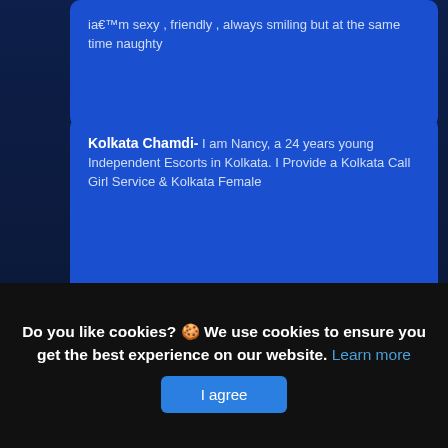ia€™m sexy , friendly , always smiling but at the same time naughty
Kolkata Chamdi- I am Nancy, a 24 years young Independent Escorts in Kolkata. I Provide a Kolkata Call Girl Service & Kolkata Female
Indian- Full service
Zoe Red Independent Ebony Escort- Hello gentlemen! My name is Zoe Red, and Ia€™m an elegant and fun British exotic mixed race Black-Asian ebony escort and
Do you like cookies? 🍪 We use cookies to ensure you get the best experience on our website. Learn more
I agree